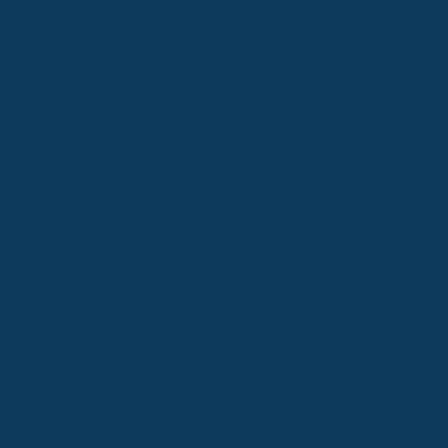[Figure (other): Solid dark navy blue background filling the entire page. No text or other visible content.]